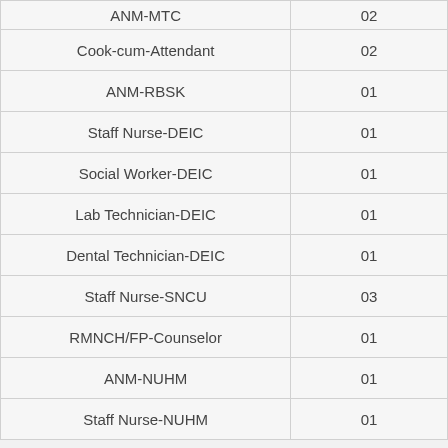| ANM-MTC | 02 |
| Cook-cum-Attendant | 02 |
| ANM-RBSK | 01 |
| Staff Nurse-DEIC | 01 |
| Social Worker-DEIC | 01 |
| Lab Technician-DEIC | 01 |
| Dental Technician-DEIC | 01 |
| Staff Nurse-SNCU | 03 |
| RMNCH/FP-Counselor | 01 |
| ANM-NUHM | 01 |
| Staff Nurse-NUHM | 01 |